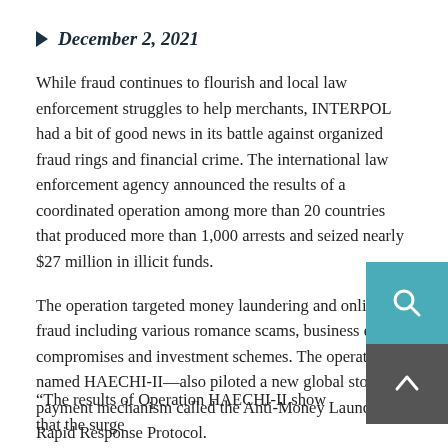December 2, 2021
While fraud continues to flourish and local law enforcement struggles to help merchants, INTERPOL had a bit of good news in its battle against organized fraud rings and financial crime. The international law enforcement agency announced the results of a coordinated operation among more than 20 countries that produced more than 1,000 arrests and seized nearly $27 million in illicit funds.
The operation targeted money laundering and online fraud including various romance scams, business email compromises and investment schemes. The operation—named HAECHI-II—also piloted a new global stop-payment mechanism called the Anti-Money Laundering Rapid Response Protocol.
“The results of Operation HAECHI-II show that the surge